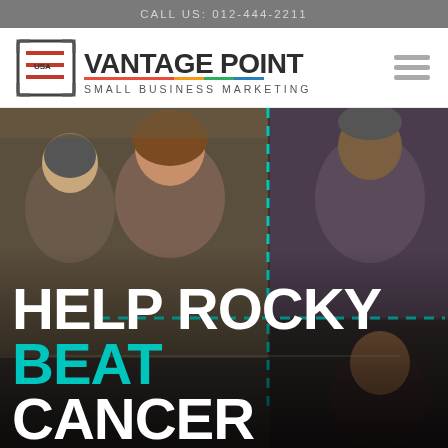CALL US: 012-444-2211
[Figure (logo): VantagePoint Small Business Marketing logo with icon and hamburger menu]
[Figure (photo): Collage of photos showing people; left shows a man and woman smiling, right shows an elderly man, bottom right shows a person; teal dashed lines divide the sections]
HELP ROCKY BEAT CANCER